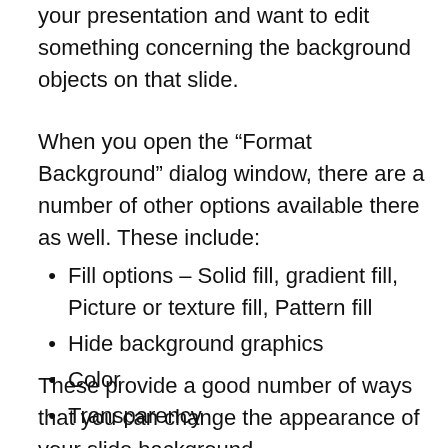your presentation and want to edit something concerning the background objects on that slide.
When you open the “Format Background” dialog window, there are a number of other options available there as well. These include:
Fill options – Solid fill, gradient fill, Picture or texture fill, Pattern fill
Hide background graphics
Color
Transparency
These provide a good number of ways that you can change the appearance of your slide background.